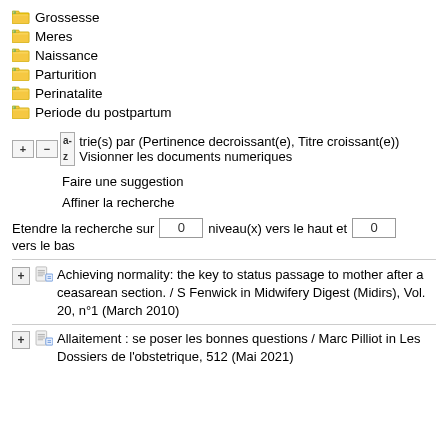Grossesse
Meres
Naissance
Parturition
Perinatalite
Periode du postpartum
+ – [a-z] trie(s) par (Pertinence decroissant(e), Titre croissant(e)) Visionner les documents numeriques
Faire une suggestion
Affiner la recherche
Etendre la recherche sur 0 niveau(x) vers le haut et 0 vers le bas
Achieving normality: the key to status passage to mother after a ceasarean section. / S Fenwick in Midwifery Digest (Midirs), Vol. 20, n°1 (March 2010)
Allaitement : se poser les bonnes questions / Marc Pilliot in Les Dossiers de l'obstetrique, 512 (Mai 2021)